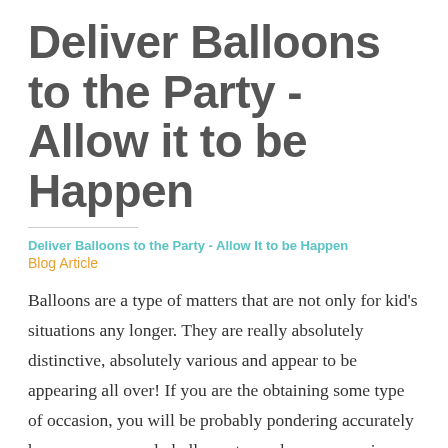Deliver Balloons to the Party - Allow it to be Happen
Deliver Balloons to the Party - Allow It to be Happen
Blog Article
Balloons are a type of matters that are not only for kid's situations any longer. They are really absolutely distinctive, absolutely various and appear to be appearing all over! If you are the obtaining some type of occasion, you will be probably pondering accurately how one can supply balloons towards your occasion. The splendor about balloon supply is there are a lot of